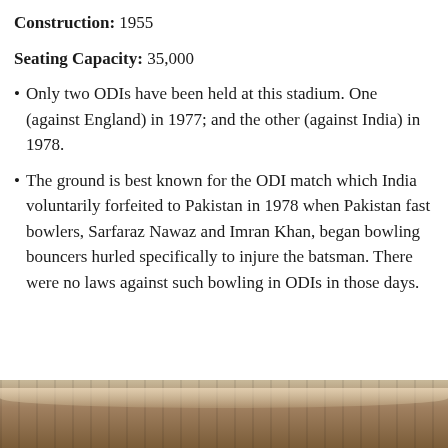Construction: 1955
Seating Capacity: 35,000
Only two ODIs have been held at this stadium. One (against England) in 1977; and the other (against India) in 1978.
The ground is best known for the ODI match which India voluntarily forfeited to Pakistan in 1978 when Pakistan fast bowlers, Sarfaraz Nawaz and Imran Khan, began bowling bouncers hurled specifically to injure the batsman. There were no laws against such bowling in ODIs in those days.
[Figure (photo): Partial view of a stadium structure, showing roofing or stands, in warm brown tones, cropped at bottom of page.]